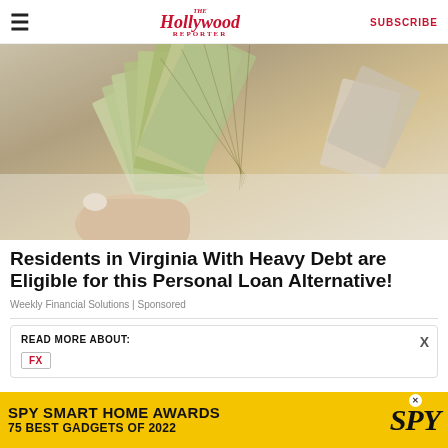The Hollywood Reporter | SUBSCRIBE
[Figure (photo): A hand holding a large fanned stack of US dollar bills]
Residents in Virginia With Heavy Debt are Eligible for this Personal Loan Alternative!
Weekly Financial Solutions | Sponsored
READ MORE ABOUT:
FX
[Figure (infographic): SPY Smart Home Awards banner ad: SPY SMART HOME AWARDS 75 BEST GADGETS OF 2022 on yellow background]